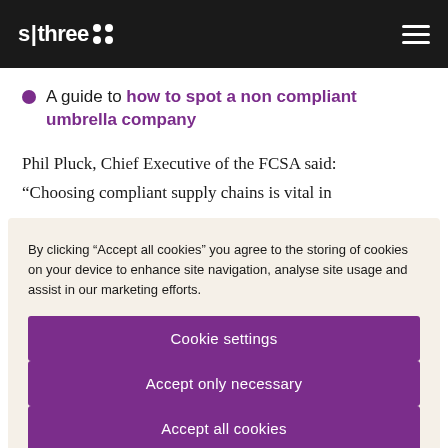s|three
A guide to how to spot a non compliant umbrella company
Phil Pluck, Chief Executive of the FCSA said:
“Choosing compliant supply chains is vital in
By clicking “Accept all cookies” you agree to the storing of cookies on your device to enhance site navigation, analyse site usage and assist in our marketing efforts.
Cookie settings
Accept only necessary
Accept all cookies